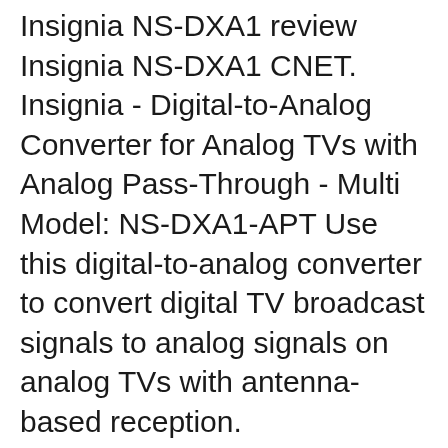Insignia NS-DXA1 review Insignia NS-DXA1 CNET. Insignia - Digital-to-Analog Converter for Analog TVs with Analog Pass-Through - Multi Model: NS-DXA1-APT Use this digital-to-analog converter to convert digital TV broadcast signals to analog signals on analog TVs with antenna-based reception. https://sco.wikipedia.org/wiki/Opel_Movano PLAN TO RESCAN! Using the remote control that came with your set, RESCAN the channels to receive the new, improved ValleyPBS Family of Channels. We will be ready to assist you! PLEASE HAVE THE MAKE AND MODEL OF YOUR TELEVISION AS WELL AS THE ORIGINAL REMOTE CONTROL IN HAND WHEN YOU CALL. Remember,